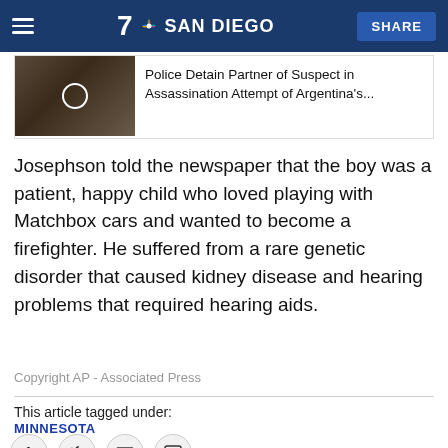7 SAN DIEGO | SHARE
[Figure (screenshot): News teaser with thumbnail image: Police Detain Partner of Suspect in Assassination Attempt of Argentina's...]
Josephson told the newspaper that the boy was a patient, happy child who loved playing with Matchbox cars and wanted to become a firefighter. He suffered from a rare genetic disorder that caused kidney disease and hearing problems that required hearing aids.
Copyright AP - Associated Press
This article tagged under:
MINNESOTA
[Figure (infographic): Social sharing buttons: Facebook, Twitter, Email, Comment]